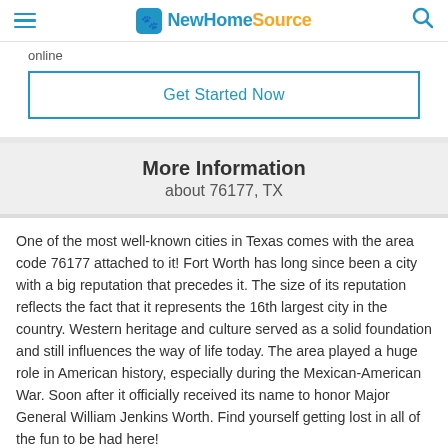NewHomeSource
online
Get Started Now
More Information
about 76177, TX
One of the most well-known cities in Texas comes with the area code 76177 attached to it! Fort Worth has long since been a city with a big reputation that precedes it. The size of its reputation reflects the fact that it represents the 16th largest city in the country. Western heritage and culture served as a solid foundation and still influences the way of life today. The area played a huge role in American history, especially during the Mexican-American War. Soon after it officially received its name to honor Major General William Jenkins Worth. Find yourself getting lost in all of the fun to be had here!